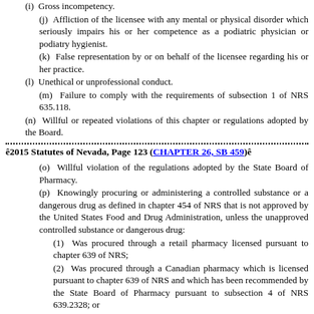(i)  Gross incompetency.
(j)  Affliction of the licensee with any mental or physical disorder which seriously impairs his or her competence as a podiatric physician or podiatry hygienist.
(k)  False representation by or on behalf of the licensee regarding his or her practice.
(l)  Unethical or unprofessional conduct.
(m)  Failure to comply with the requirements of subsection 1 of NRS 635.118.
(n)  Willful or repeated violations of this chapter or regulations adopted by the Board.
ê2015 Statutes of Nevada, Page 123 (CHAPTER 26, SB 459)ê
(o)  Willful violation of the regulations adopted by the State Board of Pharmacy.
(p)  Knowingly procuring or administering a controlled substance or a dangerous drug as defined in chapter 454 of NRS that is not approved by the United States Food and Drug Administration, unless the unapproved controlled substance or dangerous drug:
(1)  Was procured through a retail pharmacy licensed pursuant to chapter 639 of NRS;
(2)  Was procured through a Canadian pharmacy which is licensed pursuant to chapter 639 of NRS and which has been recommended by the State Board of Pharmacy pursuant to subsection 4 of NRS 639.2328; or
(3)  Is marijuana being used for medical purposes in accordance with chapter 453A of NRS.
(q)  Operation of a medical facility, as defined in NRS 449.0151, at any time during which:
(1)  The license of the facility is suspended or revoked; or
(2)  An act or omission occurs which results in the suspension or